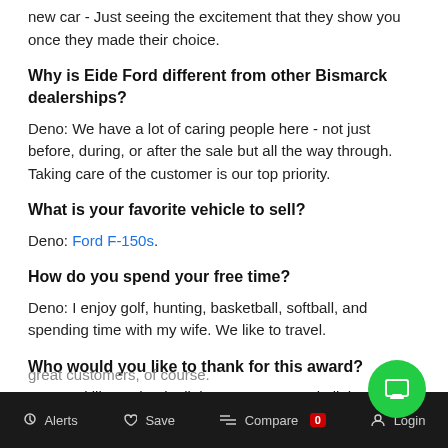new car - Just seeing the excitement that they show you once they made their choice.
Why is Eide Ford different from other Bismarck dealerships?
Deno: We have a lot of caring people here - not just before, during, or after the sale but all the way through. Taking care of the customer is our top priority.
What is your favorite vehicle to sell?
Deno: Ford F-150s.
How do you spend your free time?
Deno: I enjoy golf, hunting, basketball, softball, and spending time with my wife. We like to travel.
Who would you like to thank for this award?
Deno: I'd like to thank all the managers and all the p... that help make the sale possible. I want to thank m... great customers, of course.
Alerts  Save  Compare 0  Login